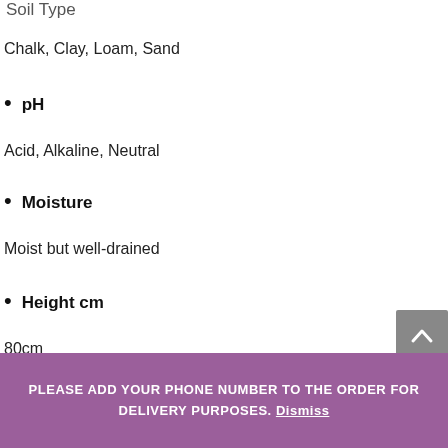Soil Type
Chalk, Clay, Loam, Sand
pH
Acid, Alkaline, Neutral
Moisture
Moist but well-drained
Height cm
80cm
Spread cm
PLEASE ADD YOUR PHONE NUMBER TO THE ORDER FOR DELIVERY PURPOSES. Dismiss